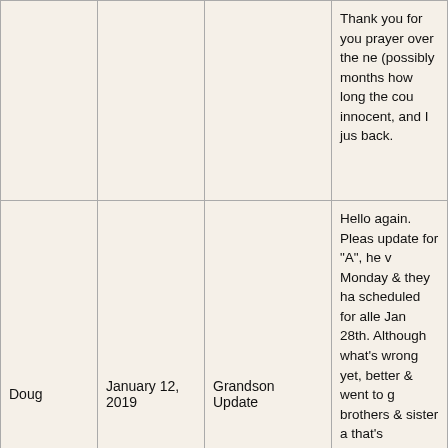| Name | Date | Subject | Message |
| --- | --- | --- | --- |
|  |  |  | Thank you for you prayer over the ne (possibly months h how long the cou innocent, and I jus back. |
| Doug | January 12, 2019 | Grandson Update | Hello again. Pleas update for "A", he v Monday & they ha scheduled for alle Jan 28th. Although what's wrong yet, better & went to g brothers & sister a that's encouragin better. Still not 10 mucho better tha when they took hi hospital again. Th much for your con |